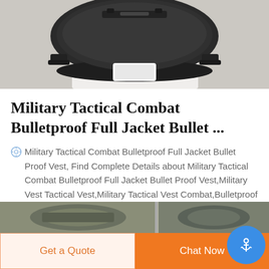[Figure (photo): Partial view of a military tactical bulletproof helmet/vest product, dark colored, shown from below against a light background]
Military Tactical Combat Bulletproof Full Jacket Bullet ...
Military Tactical Combat Bulletproof Full Jacket Bullet Proof Vest, Find Complete Details about Military Tactical Combat Bulletproof Full Jacket Bullet Proof Vest,Military Vest Tactical Vest,Military Tactical Vest Combat,Bulletproof Full Jacket Bullet Proof Vest from Other Police & Military Supplies Supplier or Manufacturer-Guangzhou Bsl Trade Import And Export Co.,ltd.
[Figure (photo): Bottom strip showing two thumbnail product images of military/tactical vests in camouflage pattern]
Get a Quote
Chat Now